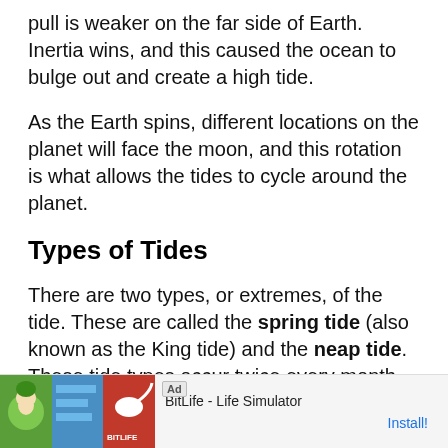pull is weaker on the far side of Earth. Inertia wins, and this caused the ocean to bulge out and create a high tide.
As the Earth spins, different locations on the planet will face the moon, and this rotation is what allows the tides to cycle around the planet.
Types of Tides
There are two types, or extremes, of the tide. These are called the spring tide (also known as the King tide) and the neap tide. These tide types occur twice every month.
[Figure (other): Advertisement banner for BitLife - Life Simulator app with Install button]
Neap